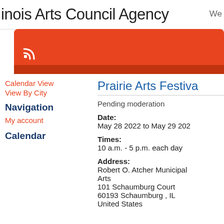inois Arts Council Agency  We
[Figure (screenshot): Orange/red navigation bar with RSS feed icon (white WiFi-style icon) on the left]
Calendar View
View By City
Navigation
My account
Calendar
Prairie Arts Festiva
Pending moderation
Date:
May 28 2022 to May 29 202
Times:
10 a.m. - 5 p.m. each day
Address:
Robert O. Atcher Municipal Arts
101 Schaumburg Court
60193 Schaumburg , IL
United States